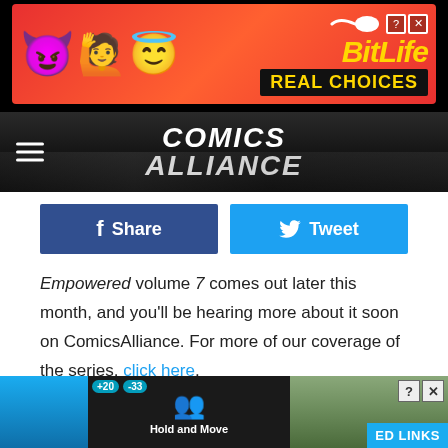[Figure (screenshot): BitLife mobile app advertisement banner with colorful emojis (devil, person, angel) on red background with 'BitLife REAL CHOICES' text in yellow and black]
[Figure (logo): ComicsAlliance website header/navigation bar with hamburger menu icon and 'COMICS ALLIANCE' site title in white italic bold text on dark background]
[Figure (other): Facebook Share button (dark blue) and Twitter Tweet button (light blue) side by side]
Empowered volume 7 comes out later this month, and you'll be hearing more about it soon on ComicsAlliance. For more of our coverage of the series, click here.
Filed Under: adam warren, AdamWarren, cosplay, empowered, paul hiller, PaulHiller
Categories: Culture, Dark Horse
Comments
[Figure (screenshot): Bottom advertisement for 'Hold and Move' app on dark background with small figures, and a forest/nature photo on the right side with close buttons and 'ED LINKS' tab]